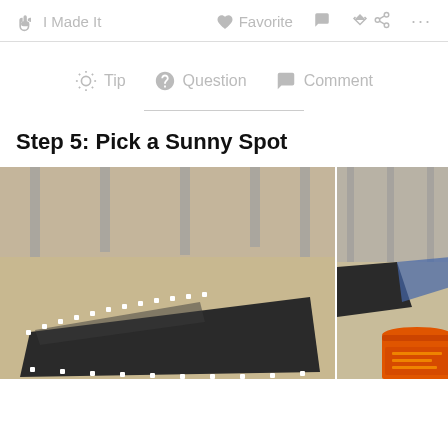✋ I Made It   ♥ Favorite   💬   ⎙   ···
💡 Tip   ❓ Question   💬 Comment
Step 5: Pick a Sunny Spot
[Figure (photo): A black plastic tarp or solar blanket laid flat on sandy/dirt ground outdoors, with metal poles/structures visible in the background. The tarp has white grommets along its edges.]
[Figure (photo): Partial view of a black tarp or mat on the ground with a bright orange plastic bucket/container visible in the foreground, with metal structures in the background.]